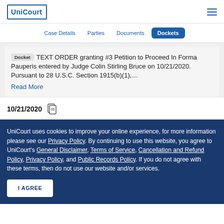UniCourt
Case Details  Parties  Documents  Dockets
Docket  TEXT ORDER granting #3 Petition to Proceed In Forma Pauperis entered by Judge Colin Stirling Bruce on 10/21/2020. Pursuant to 28 U.S.C. Section 1915(b)(1),…
Read More
10/21/2020
UniCourt uses cookies to improve your online experience, for more information please see our Privacy Policy. By continuing to use this website, you agree to UniCourt's General Disclaimer, Terms of Service, Cancellation and Refund Policy, Privacy Policy, and Public Records Policy. If you do not agree with these terms, then do not use our website and/or services.
I AGREE